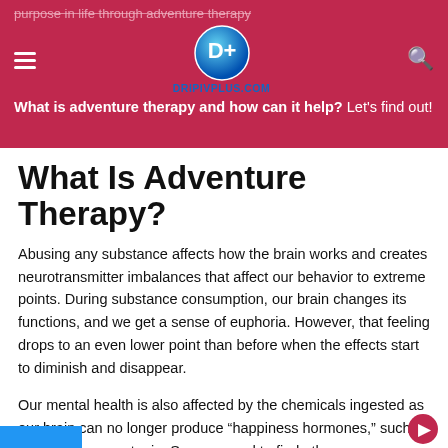purpose in life through adventure therapy
DRIPIVPLUS.COM
What is adventure therapy and how can it help? Let's find out!
What Is Adventure Therapy?
Abusing any substance affects how the brain works and creates neurotransmitter imbalances that affect our behavior to extreme points. During substance consumption, our brain changes its functions, and we get a sense of euphoria. However, that feeling drops to an even lower point than before when the effects start to diminish and disappear.
Our mental health is also affected by the chemicals ingested as our brain can no longer produce “happiness hormones,” such as dopamine or serotonin. So, you need to find other